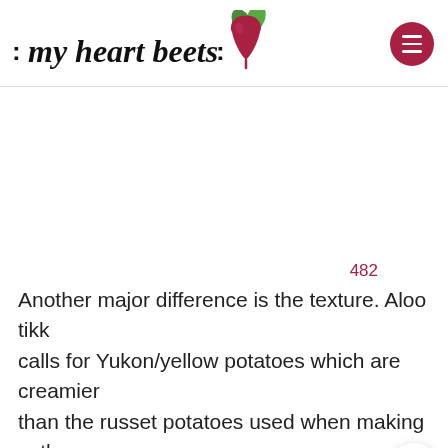my heart beets
482
Another major difference is the texture. Aloo tikki calls for Yukon/yellow potatoes which are creamier than the russet potatoes used when making cutlets. Both patties melt in your mouth, but I'd say cutlets are a bit heartier.